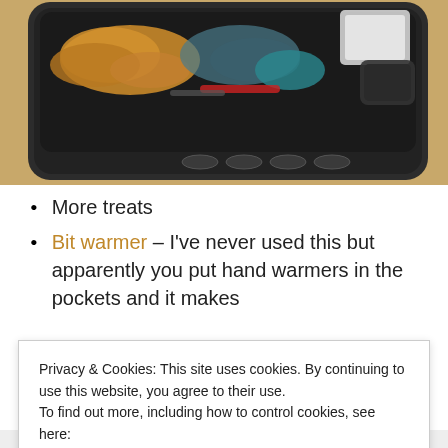[Figure (photo): Overhead view of a black plastic toolbox/organizer tray filled with work gloves, various items including what appears to be bags, a flashlight, and other tools, sitting on a wooden surface.]
More treats
Bit warmer – I've never used this but apparently you put hand warmers in the pockets and it makes
Privacy & Cookies: This site uses cookies. By continuing to use this website, you agree to their use.
To find out more, including how to control cookies, see here: Cookie Policy
Close and accept